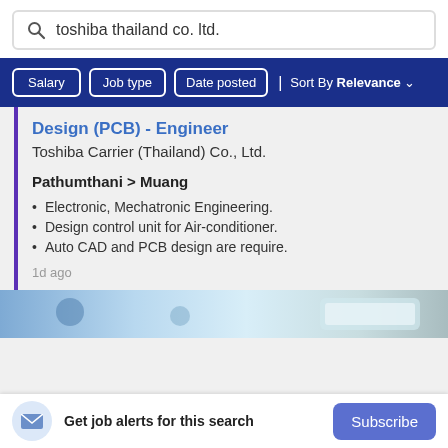toshiba thailand co. ltd.
Salary | Job type | Date posted | Sort By Relevance
Design (PCB) - Engineer
Toshiba Carrier (Thailand) Co., Ltd.
Pathumthani > Muang
Electronic, Mechatronic Engineering.
Design control unit for Air-conditioner.
Auto CAD and PCB design are require.
1d ago
[Figure (photo): Advertisement banner image with people and an air conditioner]
Get job alerts for this search
Subscribe